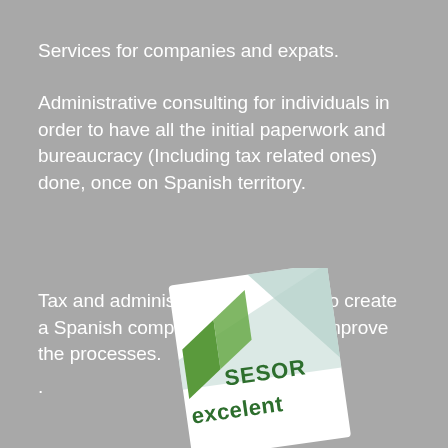Services for companies and expats.
Administrative consulting for individuals in order to have all the initial paperwork and bureaucracy (Including tax related ones) done, once on Spanish territory.
Tax and administrative consulting to create a Spanish company, legalize and improve the processes.
.
[Figure (logo): Asesor Excelent logo - a tilted white square badge with green diagonal stripe, green chevron/arrow shape, and text 'ASESOR excelent' in dark green]